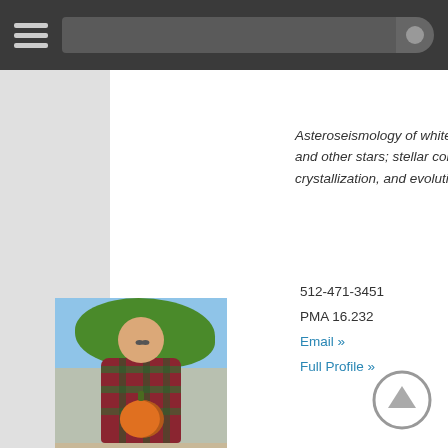[Figure (screenshot): Navigation bar with hamburger menu icon and search bar]
Asteroseismology of white dwarfs and other stars; stellar convection, crystallization, and evolution
512-471-3451
PMA 16.232
Email »
Full Profile »
[Figure (photo): Young man in plaid shirt holding a pumpkin outdoors, with trees in background]
[Figure (other): Scroll to top circular button with upward arrow]